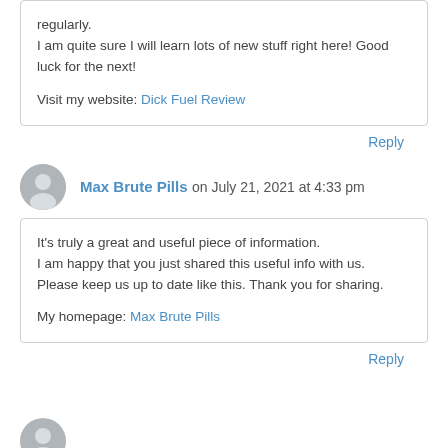regularly.
I am quite sure I will learn lots of new stuff right here! Good luck for the next!

Visit my website: Dick Fuel Review
Reply
Max Brute Pills on July 21, 2021 at 4:33 pm
It's truly a great and useful piece of information. I am happy that you just shared this useful info with us.
Please keep us up to date like this. Thank you for sharing.

My homepage: Max Brute Pills
Reply